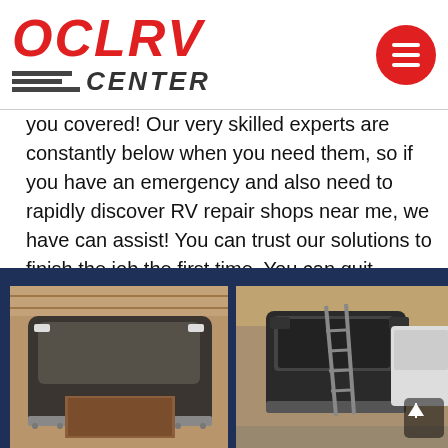[Figure (logo): OCLRV Center logo with red stylized text and gray striped bar with CENTER text]
you covered! Our very skilled experts are constantly below when you need them, so if you have an emergency and also need to rapidly discover RV repair shops near me, we have can assist! You can trust our solutions to finish the job the first time. You can quit looking for RV repair near me in Agua Dulce, as we can execute anything from preventative maintenance, Cooling fixings & RV interior design to maintain your RV running for years to come.
[Figure (photo): Photo of front exterior of an RV with open bay, inside a workshop]
[Figure (photo): Photo of a large RV bus being repaired in a workshop with ladders leaning against it]